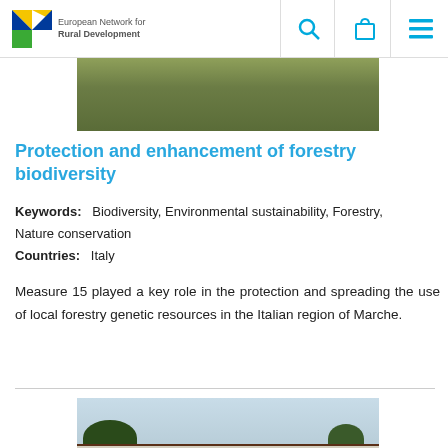European Network for Rural Development
[Figure (photo): Aerial/ground photo of green grass or meadow landscape]
Protection and enhancement of forestry biodiversity
Keywords:    Biodiversity, Environmental sustainability, Forestry, Nature conservation
Countries:    Italy
Measure 15 played a key role in the protection and spreading the use of local forestry genetic resources in the Italian region of Marche.
[Figure (photo): Outdoor information sign board with three panels showing forestry/nature illustrations, surrounded by trees]